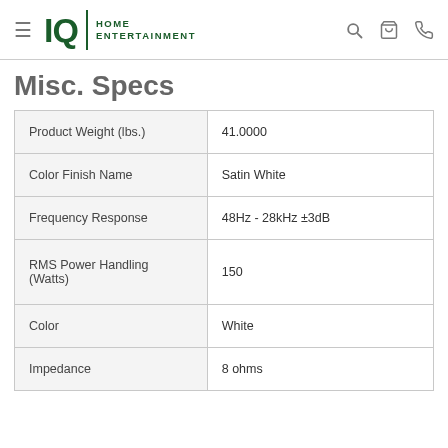IQ HOME ENTERTAINMENT
Misc. Specs
| Specification | Value |
| --- | --- |
| Product Weight (lbs.) | 41.0000 |
| Color Finish Name | Satin White |
| Frequency Response | 48Hz - 28kHz ±3dB |
| RMS Power Handling (Watts) | 150 |
| Color | White |
| Impedance | 8 ohms |